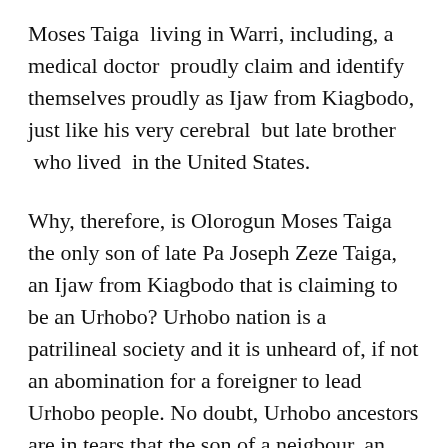Moses Taiga living in Warri, including, a medical doctor proudly claim and identify themselves proudly as Ijaw from Kiagbodo, just like his very cerebral but late brother who lived in the United States.
Why, therefore, is Olorogun Moses Taiga the only son of late Pa Joseph Zeze Taiga, an Ijaw from Kiagbodo that is claiming to be an Urhobo? Urhobo nation is a patrilineal society and it is unheard of, if not an abomination for a foreigner to lead Urhobo people. No doubt, Urhobo ancestors are in tears that the son of a neigbour, an Ijaw man is claiming a factional leadership of the sons and daughters of Urhobo people. It